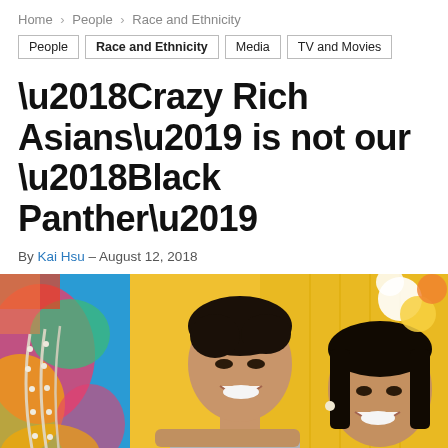Home > People > Race and Ethnicity
People
Race and Ethnicity
Media
TV and Movies
‘Crazy Rich Asians’ is not our ‘Black Panther’
By Kai Hsu - August 12, 2018
[Figure (photo): Movie promotional image showing two Asian actors smiling and looking at each other against a colorful background with fans and flowers. The male actor is in the foreground with dark hair, and a female actor is visible on the right side. Colorful fabric with pearl necklaces is visible on the left.]